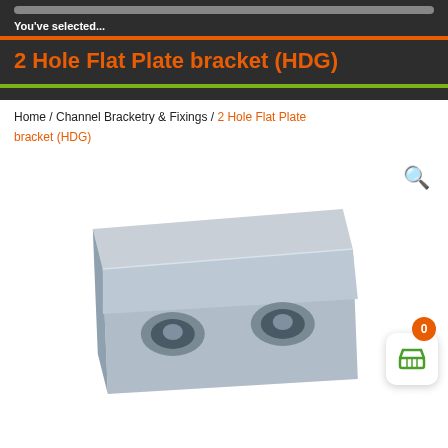You've selected...
2 Hole Flat Plate bracket (HDG)
Home / Channel Bracketry & Fixings / 2 Hole Flat Plate bracket (HDG)
[Figure (photo): A 2 Hole Flat Plate bracket (HDG) — a rectangular hot-dip galvanised steel plate with two circular countersunk holes, shown at an angle on a white background. A magnifying glass icon is visible top-right. A shopping cart widget with an orange badge showing '0' is in the bottom-right corner.]